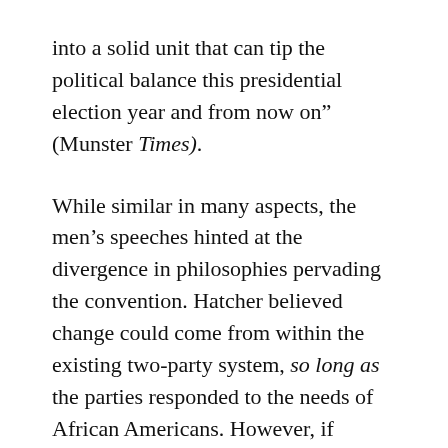into a solid unit that can tip the political balance this presidential election year and from now on” (Munster Times).
While similar in many aspects, the men’s speeches hinted at the divergence in philosophies pervading the convention. Hatcher believed change could come from within the existing two-party system, so long as the parties responded to the needs of African Americans. However, if legislators continued to neglect black constituents, black Americans would create a third party and, he told attendees, “we shall take with us the best of White America . . . many a white youth nauseated by the corrupt values rotting the